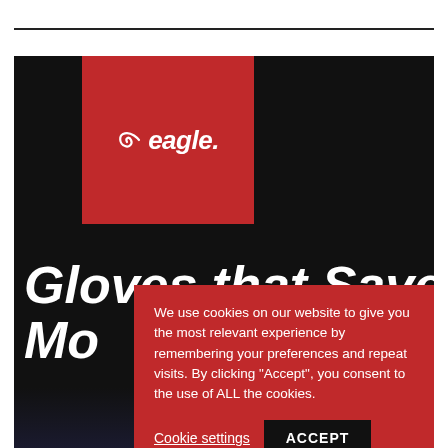[Figure (screenshot): Eagle brand website screenshot showing a dark hero image with red Eagle logo box and large italic white text 'Gloves that Save Mo...' with a cookie consent popup overlay in red.]
We use cookies on our website to give you the most relevant experience by remembering your preferences and repeat visits. By clicking “Accept”, you consent to the use of ALL the cookies.
Cookie settings
ACCEPT